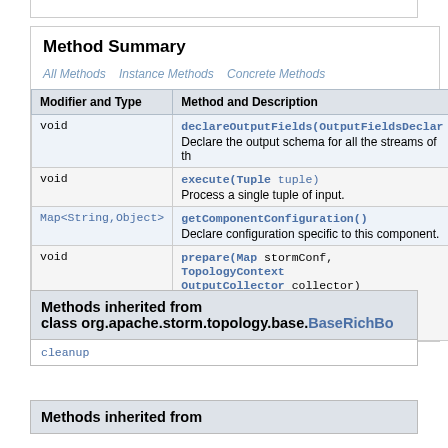Method Summary
| Modifier and Type | Method and Description |
| --- | --- |
| void | declareOutputFields(OutputFieldsDeclarer declarer)
Declare the output schema for all the streams of this |
| void | execute(Tuple tuple)
Process a single tuple of input. |
| Map<String,Object> | getComponentConfiguration()
Declare configuration specific to this component. |
| void | prepare(Map stormConf, TopologyContext context, OutputCollector collector)
Called when a task for this component is initialized within a worker on the cluster. |
Methods inherited from class org.apache.storm.topology.base.BaseRichBolt
cleanup
Methods inherited from